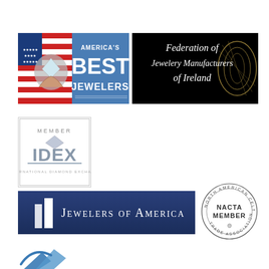[Figure (logo): America's Best Jewelers logo - American flag background with blue panel showing text 'AMERICA'S BEST JEWELERS' and a diamond graphic]
[Figure (logo): Federation of Jewelery Manufacturers of Ireland logo - black background with gold decorative element and italic white text]
[Figure (logo): IDEX International Diamond Exchange Member logo - silver embossed text with border]
[Figure (logo): Jewelers of America logo - dark navy blue background with white geometric pillar icon and white text 'JEWELERS OF AMERICA']
[Figure (logo): NACTA Member - North American Celtic Trade Association circular seal logo]
[Figure (logo): Partial logo at bottom left - blue arrow/bird graphic partially visible]